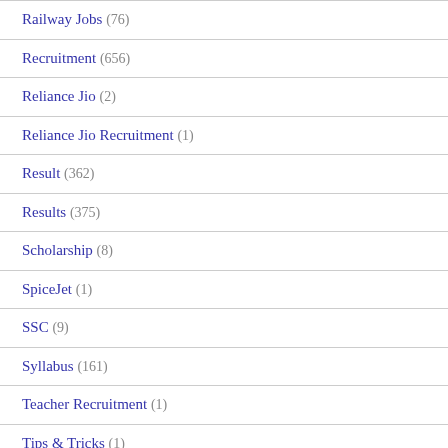Railway Jobs (76)
Recruitment (656)
Reliance Jio (2)
Reliance Jio Recruitment (1)
Result (362)
Results (375)
Scholarship (8)
SpiceJet (1)
SSC (9)
Syllabus (161)
Teacher Recruitment (1)
Tips & Tricks (1)